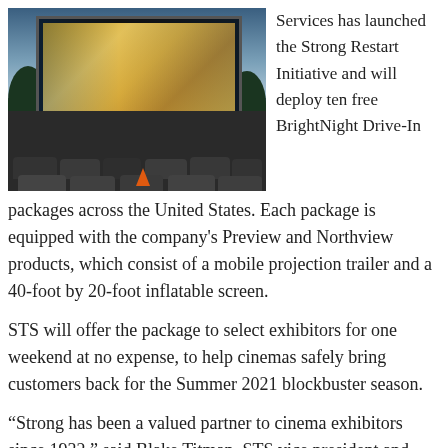[Figure (photo): Drive-in movie theater at dusk with many cars parked in front of a large inflatable screen showing a tropical city scene. An orange traffic cone is visible in the foreground.]
Services has launched the Strong Restart Initiative and will deploy ten free BrightNight Drive-In packages across the United States. Each package is equipped with the company's Preview and Northview products, which consist of a mobile projection trailer and a 40-foot by 20-foot inflatable screen.
STS will offer the package to select exhibitors for one weekend at no expense, to help cinemas safely bring customers back for the Summer 2021 blockbuster season.
“Strong has been a valued partner to cinema exhibitors since 1932,” said Blake Titman, STS vice president and general manager. “As the country reopens, there is pent up demand across America to get out of the house